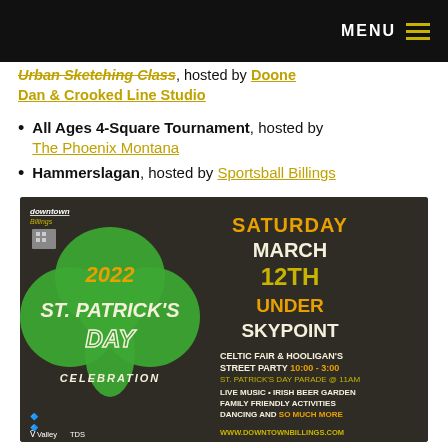MENU
Urban Sketching Class, hosted by Doone Dan & Crooked Line Studio
All Ages 4-Square Tournament, hosted by The Phoenix Montana
Hammerslagan, hosted by Sportsball Billings
[Figure (illustration): 2022 St. Patrick's Day Celebration event poster by Downtown Billings. Saturday March 12th Under Skypoint. Celtic Fair & Hooligan's Street Party 10:00-3:00. St. Patrick's Day Parade @ 11AM. Live Music, Irish Beer Garden, Family Friendly Activities, Dancing and So Much More. www.downtownbillings.com. Sponsored by Valley and TDS.]